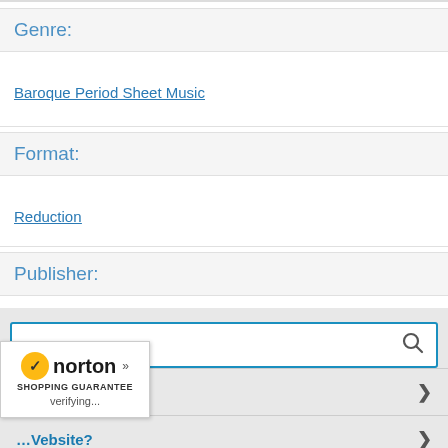Genre:
Baroque Period Sheet Music
Format:
Reduction
Publisher:
Ricordi
[Figure (screenshot): Search bar with magnifying glass icon, blue border outline, and menu items 'Easy Rebates' and another partially visible item each with chevron arrows. Norton Shopping Guarantee badge visible at bottom left showing checkmark, norton name, and 'verifying...' text.]